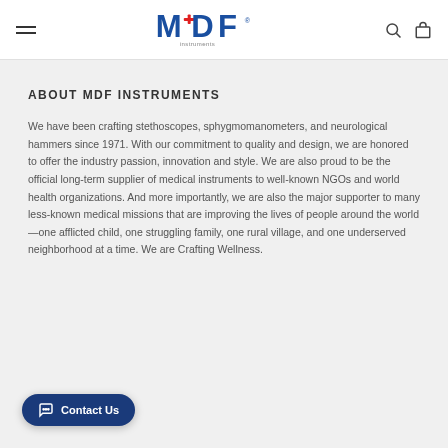MDF Instruments
ABOUT MDF INSTRUMENTS
We have been crafting stethoscopes, sphygmomanometers, and neurological hammers since 1971. With our commitment to quality and design, we are honored to offer the industry passion, innovation and style. We are also proud to be the official long-term supplier of medical instruments to well-known NGOs and world health organizations. And more importantly, we are also the major supporter to many less-known medical missions that are improving the lives of people around the world—one afflicted child, one struggling family, one rural village, and one underserved neighborhood at a time. We are Crafting Wellness.